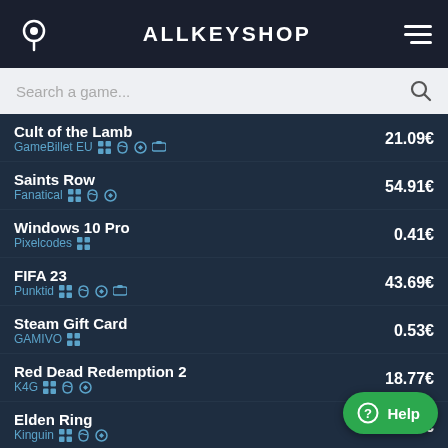ALLKEYSHOP
Search a game...
Cult of the Lamb — GameBillet EU — 21.09€
Saints Row — Fanatical — 54.91€
Windows 10 Pro — Pixelcodes — 0.41€
FIFA 23 — Punktid — 43.69€
Steam Gift Card — GAMIVO — 0.53€
Red Dead Redemption 2 — K4G — 18.77€
Elden Ring — Kinguin — 77.10€
Windows 11 Pro — Pixelcodes — 1.75€